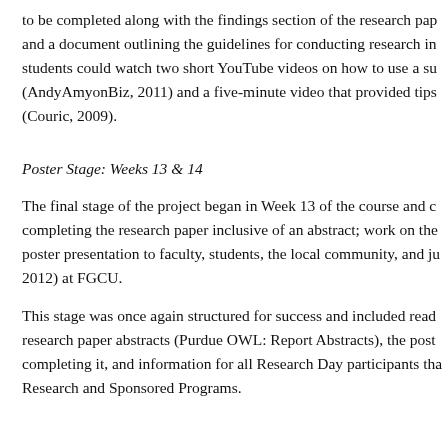to be completed along with the findings section of the research paper and a document outlining the guidelines for conducting research in students could watch two short YouTube videos on how to use a survey (AndyAmyonBiz, 2011) and a five-minute video that provided tips (Couric, 2009).
Poster Stage: Weeks 13 & 14
The final stage of the project began in Week 13 of the course and completing the research paper inclusive of an abstract; work on the poster presentation to faculty, students, the local community, and judges 2012) at FGCU.
This stage was once again structured for success and included readings on research paper abstracts (Purdue OWL: Report Abstracts), the poster and completing it, and information for all Research Day participants that Research and Sponsored Programs.